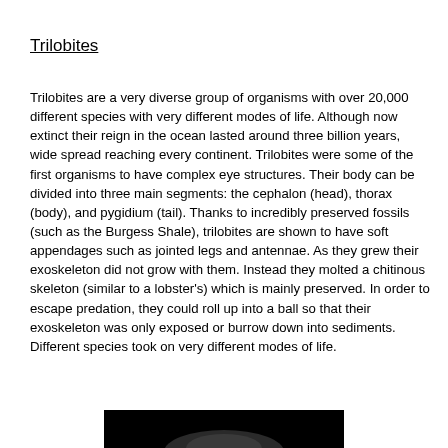Trilobites
Trilobites are a very diverse group of organisms with over 20,000 different species with very different modes of life. Although now extinct their reign in the ocean lasted around three billion years, wide spread reaching every continent. Trilobites were some of the first organisms to have complex eye structures. Their body can be divided into three main segments: the cephalon (head), thorax (body), and pygidium (tail). Thanks to incredibly preserved fossils (such as the Burgess Shale), trilobites are shown to have soft appendages such as jointed legs and antennae. As they grew their exoskeleton did not grow with them. Instead they molted a chitinous skeleton (similar to a lobster's) which is mainly preserved. In order to escape predation, they could roll up into a ball so that their exoskeleton was only exposed or burrow down into sediments. Different species took on very different modes of life.
[Figure (photo): Bottom portion of a photograph of a trilobite fossil, shown against a dark/black background.]